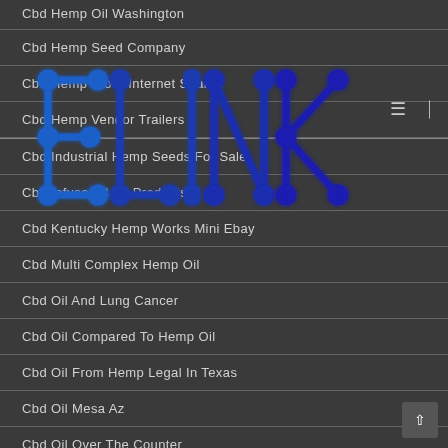[Figure (logo): ELINK logo in blue robotic/circuit-style lettering overlaid on the navigation area]
Cbd Hemp Oil Washington
Cbd Hemp Seed Company
Cbd Hemp Store Internet Search
Cbd Hemp Vendor Trailers
Cbd Industrial Hemp Seeds For Sale
Cbd Infused Bath Products
Cbd Kentucky Hemp Works Mini Ebay
Cbd Multi Complex Hemp Oil
Cbd Oil And Lung Cancer
Cbd Oil Compared To Hemp Oil
Cbd Oil From Hemp Legal In Texas
Cbd Oil Mesa Az
Cbd Oil Over The Counter